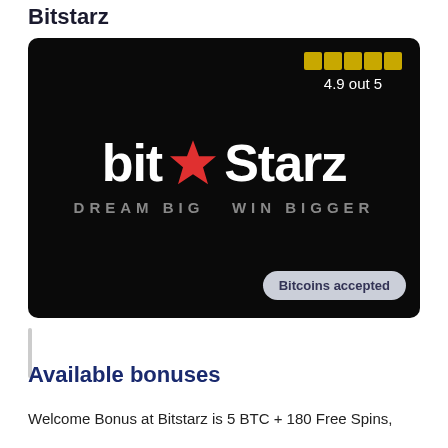Bitstarz
[Figure (logo): Bitstarz casino logo on black background with red star, tagline 'DREAM BIG WIN BIGGER', rating 4.9 out 5 shown with gold squares, and 'Bitcoins accepted' badge]
Available bonuses
Welcome Bonus at Bitstarz is 5 BTC + 180 Free Spins,